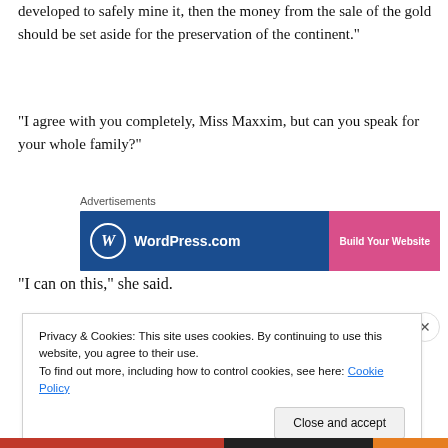developed to safely mine it, then the money from the sale of the gold should be set aside for the preservation of the continent.”
“I agree with you completely, Miss Maxxim, but can you speak for your whole family?”
[Figure (other): WordPress.com advertisement banner with blue background, WordPress logo on left, and pink 'Build Your Website' button on right]
“I can on this,” she said.
Privacy & Cookies: This site uses cookies. By continuing to use this website, you agree to their use.
To find out more, including how to control cookies, see here: Cookie Policy
[Close and accept button]